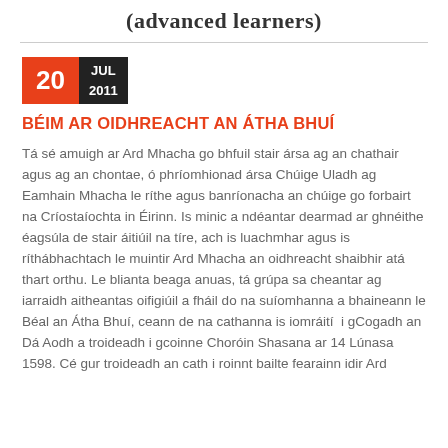(advanced learners)
20 JUL 2011
BÉiM AR OIDHREACHT AN ÁTHA BHUÍ
Tá sé amuigh ar Ard Mhacha go bhfuil stair ársa ag an chathair agus ag an chontae, ó phríomhionad ársa Chúige Uladh ag Eamhain Mhacha le ríthe agus banríonacha an chúige go forbairt na Críostaíochta in Éirinn. Is minic a ndéantar dearmad ar ghnéithe éagsúla de stair áitiúil na tíre, ach is luachmhar agus is ríthábhachtach le muintir Ard Mhacha an oidhreacht shaibhir atá thart orthu. Le blianta beaga anuas, tá grúpa sa cheantar ag iarraidh aitheantas oifigiúil a fháil do na suíomhanna a bhaineann le Béal an Átha Bhuí, ceann de na cathanna is iomráití i gCogadh an Dá Aodh a troideadh i gcoinne Choróin Shasana ar 14 Lúnasa 1598. Cé gur troideadh an cath i roinnt bailte fearainn idir Ard